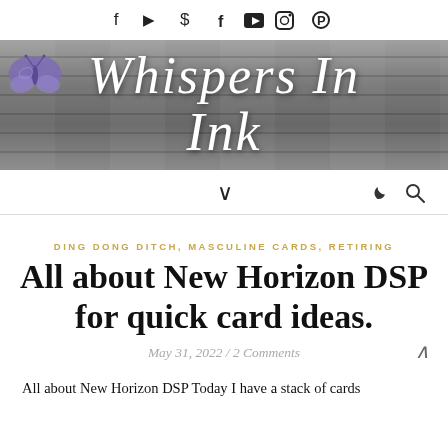f  ▶  ◎  ⊕
[Figure (illustration): Blog header banner image with wood plank texture background and decorative purple butterfly in the top-left corner. White cursive script reads 'Whispers In Ink'.]
∨  ☽  🔍
DING DONG DITCH, MASCULINE CARDS, RETIRING
All about New Horizon DSP for quick card ideas.
May 31, 2022 / 2 Comments
All about New Horizon DSP Today I have a stack of cards